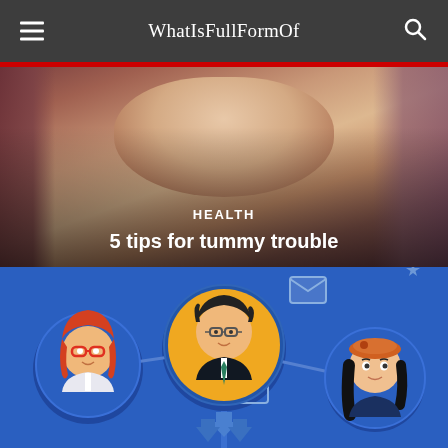WhatIsFullFormOf
[Figure (photo): Close-up photo of a baby's tummy/torso with text overlay showing category HEALTH and article title '5 tips for tummy trouble']
HEALTH
5 tips for tummy trouble
[Figure (illustration): Blue social network infographic illustration showing cartoon avatar people (woman with red glasses and orange hair, man in suit with glasses on yellow background, woman with orange beret and black hair) connected by lines and arrows, with envelope/mail icons]